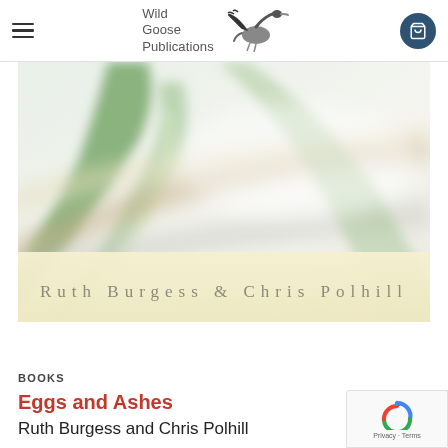Wild Goose Publications
[Figure (photo): Close-up blurred photo of plant leaves used as book cover for 'Eggs and Ashes', with a cream/yellow band at the bottom showing author names 'Ruth Burgess & Chris Polhill' in spaced serif lettering]
BOOKS
Eggs and Ashes
Ruth Burgess and Chris Polhill